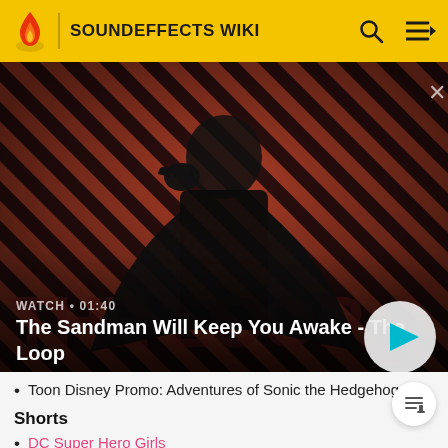SOUNDEFFECTS WIKI
[Figure (screenshot): Video thumbnail showing a dark-cloaked figure with a raven on shoulder against red diagonal striped background. Text overlay: WATCH • 01:40 / The Sandman Will Keep You Awake - The Loop. Play button on right.]
Toon Disney Promo: Adventures of Sonic the Hedgehog
Shorts
DC Super Hero Girls
Talking Friends (Shorts) (Heard once in "Fool")